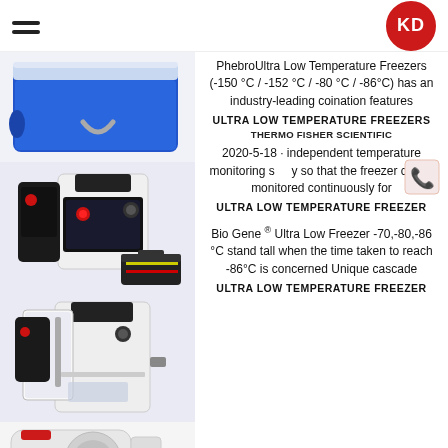KD (logo)
[Figure (photo): Blue cooler/container product photo]
PhebroUltra Low Temperature Freezers (-150 °C / -152 °C / -80 °C / -86°C) has an industry-leading coination features
ULTRA LOW TEMPERATURE FREEZERS
[Figure (photo): White laboratory equipment/freezer unit with toolbox]
THERMO FISHER SCIENTIFIC
2020-5-18 · independent temperature monitoring s y so that the freezer can monitored continuously for
ULTRA LOW TEMPERATURE FREEZER
[Figure (photo): White laboratory freezer unit open door showing interior]
Bio Gene ® Ultra Low Freezer -70,-80,-86 °C stand tall when the time taken to reach -86°C is concerned Unique cascade
ULTRA LOW TEMPERATURE FREEZER
[Figure (photo): White cylindrical freezer unit partial view]